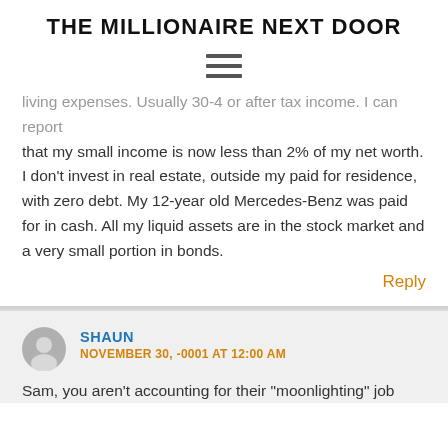THE MILLIONAIRE NEXT DOOR
living expenses. Usually 30-4 or after tax income. I can report that my small income is now less than 2% of my net worth. I don't invest in real estate, outside my paid for residence, with zero debt. My 12-year old Mercedes-Benz was paid for in cash. All my liquid assets are in the stock market and a very small portion in bonds.
Reply
SHAUN
NOVEMBER 30, -0001 AT 12:00 AM
Sam, you aren't accounting for their "moonlighting" job